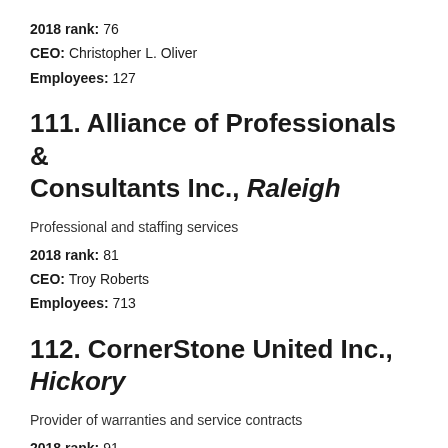2018 rank: 76
CEO: Christopher L. Oliver
Employees: 127
111. Alliance of Professionals & Consultants Inc., Raleigh
Professional and staffing services
2018 rank: 81
CEO: Troy Roberts
Employees: 713
112. CornerStone United Inc., Hickory
Provider of warranties and service contracts
2018 rank: 91
CEO: Richard Swartzel